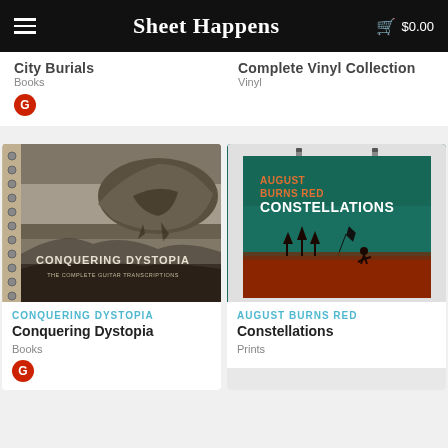Sheet Happens  $0.00
City Burials
Books
Complete Vinyl Collection
Vinyl
[Figure (photo): Spiral-bound notebook with 'Conquering Dystopia - The Complete Guitar Transcriptions' cover art featuring a floating rock formation]
[Figure (photo): Poster print of August Burns Red Constellations album art - teal background with figure flying a kite over red ground]
CONQUERING DYSTOPIA
Conquering Dystopia
Books
AUGUST BURNS RED
Constellations
Prints